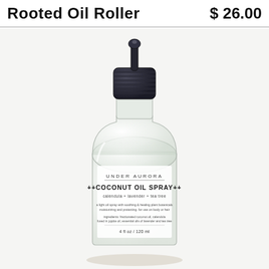Rooted Oil Roller   $ 26.00
[Figure (photo): Glass spray bottle with black pump top labeled 'UNDER AURORA ++COCONUT OIL SPRAY++ calendula + lavender + tea tree, a light oil spray with soothing & healing plant botanicals moisturizing and protecting, for use on body or hair. Ingredients: fractionated coconut oil, calendula fused in jojoba oil, essential oils of lavender and tea tree. 4 fl oz / 120 ml']